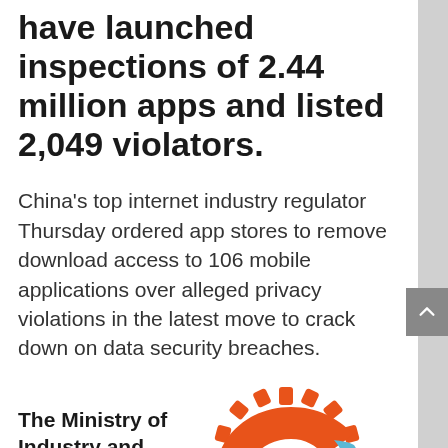have launched inspections of 2.44 million apps and listed 2,049 violators.
China's top internet industry regulator Thursday ordered app stores to remove download access to 106 mobile applications over alleged privacy violations in the latest move to crack down on data security breaches.
The Ministry of Industry and Informa
[Figure (logo): Orange and blue swirling logo resembling a stylized letter C with gear-like teeth around it]